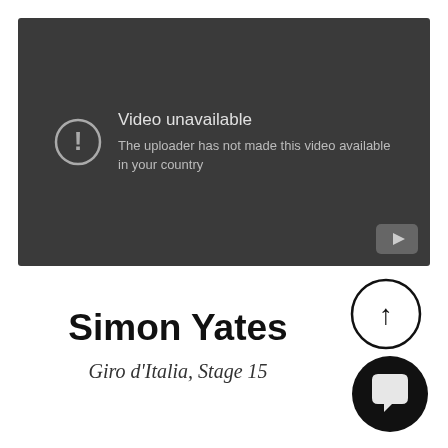[Figure (screenshot): YouTube video unavailable error screen with dark background, warning icon (circle with exclamation mark), text 'Video unavailable / The uploader has not made this video available in your country', and a YouTube play button in bottom right corner]
Simon Yates
Giro d'Italia, Stage 15